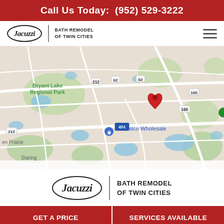Call Us Today:  (952) 529-3222
[Figure (logo): Jacuzzi Bath Remodel of Twin Cities logo with oval Jacuzzi wordmark and hamburger menu icon]
[Figure (map): Google Maps screenshot showing Eden Prairie/Edina Minnesota area with a red location pin near Bryant Lake Regional Park, showing Braemar Golf Course, Costco Wholesale, Hyland Hills Ski Area, and highway 494/169. Map data ©2022 Google.]
[Figure (logo): Jacuzzi Bath Remodel of Twin Cities logo, larger version]
GET A PRICE
SERVICES AVAILABLE